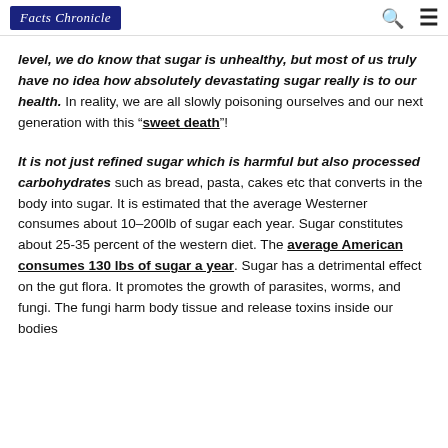Facts Chronicle
level, we do know that sugar is unhealthy, but most of us truly have no idea how absolutely devastating sugar really is to our health. In reality, we are all slowly poisoning ourselves and our next generation with this "sweet death"!
It is not just refined sugar which is harmful but also processed carbohydrates such as bread, pasta, cakes etc that converts in the body into sugar. It is estimated that the average Westerner consumes about 10–200lb of sugar each year. Sugar constitutes about 25-35 percent of the western diet. The average American consumes 130 lbs of sugar a year. Sugar has a detrimental effect on the gut flora. It promotes the growth of parasites, worms, and fungi. The fungi harm body tissue and release toxins inside our bodies